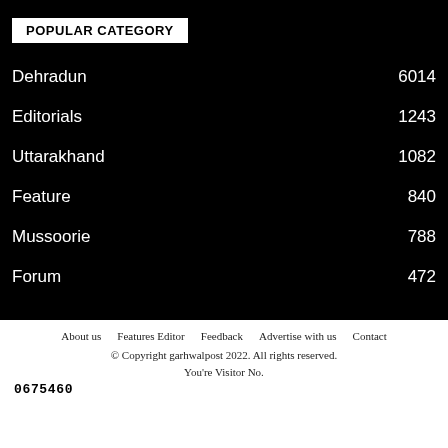POPULAR CATEGORY
Dehradun 6014
Editorials 1243
Uttarakhand 1082
Feature 840
Mussoorie 788
Forum 472
About us   Features Editor   Feedback   Advertise with us   Contact   © Copyright garhwalpost 2022. All rights reserved.   You're Visitor No.   0675460